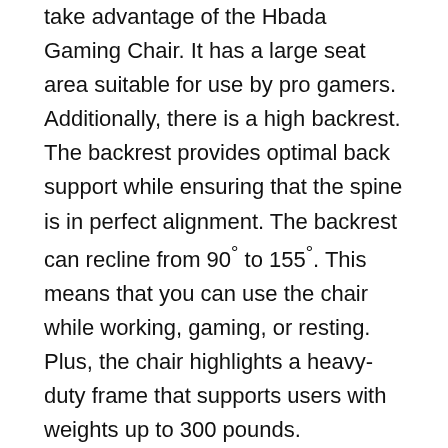take advantage of the Hbada Gaming Chair. It has a large seat area suitable for use by pro gamers. Additionally, there is a high backrest. The backrest provides optimal back support while ensuring that the spine is in perfect alignment. The backrest can recline from 90° to 155°. This means that you can use the chair while working, gaming, or resting. Plus, the chair highlights a heavy-duty frame that supports users with weights up to 300 pounds.
The seat and back highlight a durable leather that is wear-resistant, easy to clean, and stylish. Besides, the chair has a removable headrest and lumbar support. With these, you can rest assured to benefit from the desired amount of head and back support. The height-